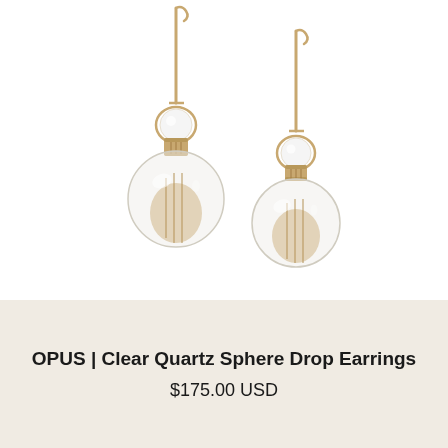[Figure (photo): Two gold-tone drop earrings with clear glass/quartz spheres hanging from thin gold bar hooks with circular ring accent at top of each sphere. White background product photo.]
OPUS | Clear Quartz Sphere Drop Earrings
$175.00 USD